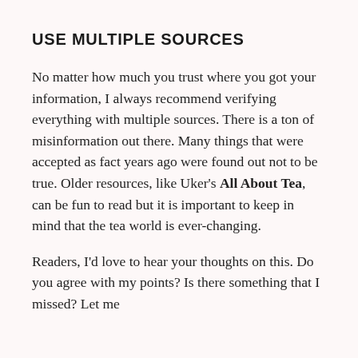USE MULTIPLE SOURCES
No matter how much you trust where you got your information, I always recommend verifying everything with multiple sources. There is a ton of misinformation out there. Many things that were accepted as fact years ago were found out not to be true. Older resources, like Uker's All About Tea, can be fun to read but it is important to keep in mind that the tea world is ever-changing.
Readers, I'd love to hear your thoughts on this. Do you agree with my points? Is there something that I missed? Let me